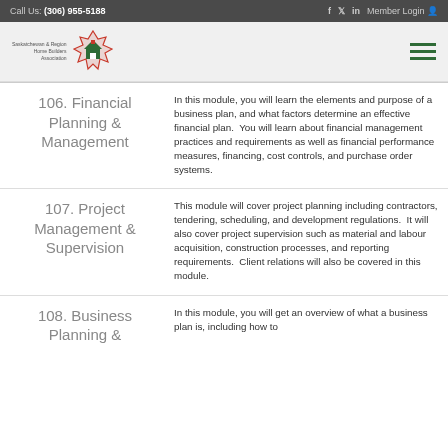Call Us: (306) 955-5188   f  y  in  Member Login
[Figure (logo): Saskatchewan & Region Home Builders Association logo with maple leaf house icon]
106. Financial Planning & Management
In this module, you will learn the elements and purpose of a business plan, and what factors determine an effective financial plan.  You will learn about financial management practices and requirements as well as financial performance measures, financing, cost controls, and purchase order systems.
107. Project Management & Supervision
This module will cover project planning including contractors, tendering, scheduling, and development regulations.  It will also cover project supervision such as material and labour acquisition, construction processes, and reporting requirements.  Client relations will also be covered in this module.
108. Business Planning &
In this module, you will get an overview of what a business plan is, including how to